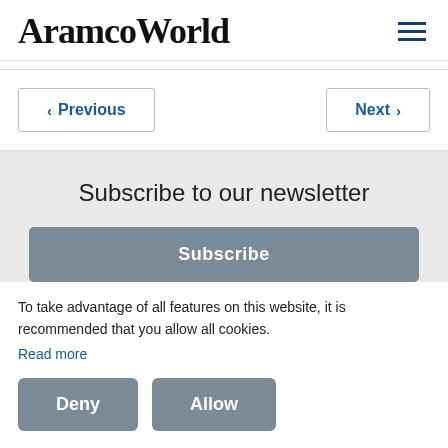AramcoWorld
< Previous
Next >
Subscribe to our newsletter
Subscribe
To take advantage of all features on this website, it is recommended that you allow all cookies.
Read more
Deny
Allow